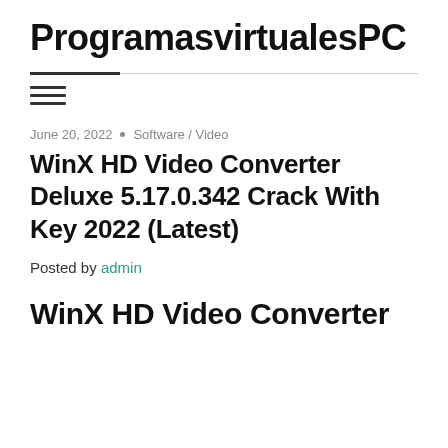ProgramasvirtualesPC
WinX HD Video Converter Deluxe 5.17.0.342 Crack With Key 2022 (Latest)
June 20, 2022 • Software / Video
Posted by admin
WinX HD Video Converter